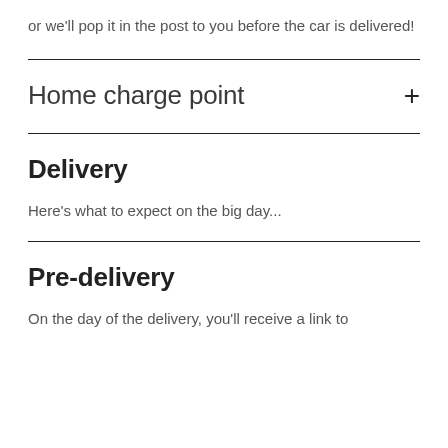or we'll pop it in the post to you before the car is delivered!
Home charge point
Delivery
Here's what to expect on the big day...
Pre-delivery
On the day of the delivery, you'll receive a link to